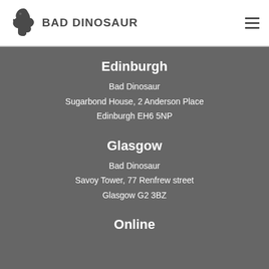[Figure (logo): Bad Dinosaur logo: dinosaur silhouette icon followed by bold text 'BAD DINOSAUR']
Edinburgh
Bad Dinosaur
Sugarbond House, 2 Anderson Place
Edinburgh EH6 5NP
Glasgow
Bad Dinosaur
Savoy Tower, 77 Renfrew street
Glasgow G2 3BZ
Online